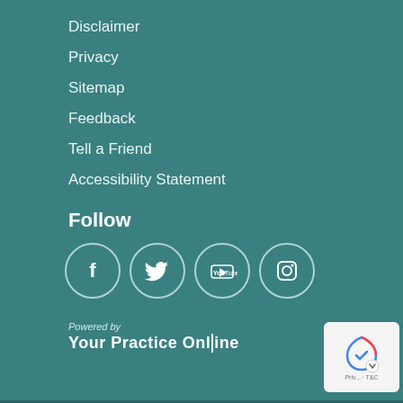Disclaimer
Privacy
Sitemap
Feedback
Tell a Friend
Accessibility Statement
Follow
[Figure (infographic): Four social media icons in circles: Facebook, Twitter, YouTube, Instagram]
[Figure (logo): Powered by Your Practice Online logo with reCAPTCHA badge]